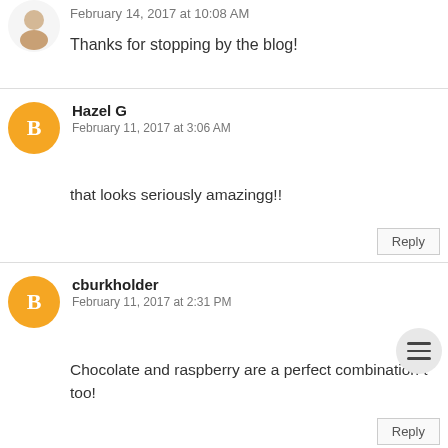February 14, 2017 at 10:08 AM
Thanks for stopping by the blog!
Hazel G
February 11, 2017 at 3:06 AM
that looks seriously amazingg!!
Reply
cburkholder
February 11, 2017 at 2:31 PM
Chocolate and raspberry are a perfect combination t too!
Reply